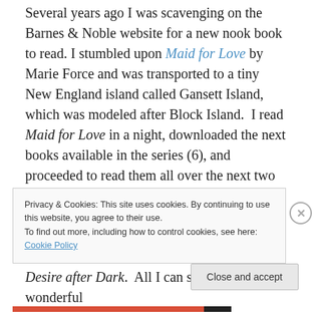Several years ago I was scavenging on the Barnes & Noble website for a new nook book to read. I stumbled upon Maid for Love by Marie Force and was transported to a tiny New England island called Gansett Island, which was modeled after Block Island.  I read Maid for Love in a night, downloaded the next books available in the series (6), and proceeded to read them all over the next two days. Since Maid for Love I've downloaded each new book on its release day and completely devoured it. Yesterday, Force released the 15th book in the series (!!!) Desire after Dark.  All I can say is, what a wonderful
Privacy & Cookies: This site uses cookies. By continuing to use this website, you agree to their use.
To find out more, including how to control cookies, see here: Cookie Policy
Close and accept